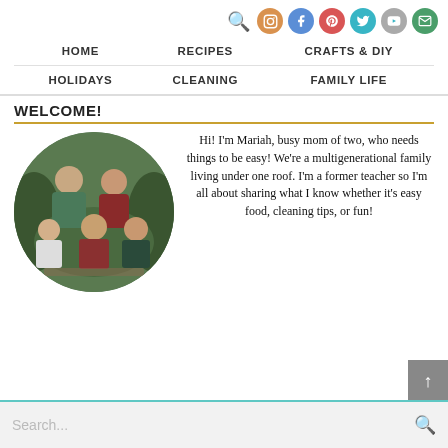Navigation icons: search, instagram, facebook, pinterest, twitter, youtube, email
HOME   RECIPES   CRAFTS & DIY   HOLIDAYS   CLEANING   FAMILY LIFE
WELCOME!
[Figure (photo): Circular family photo showing five people (two adults, three children) posed outdoors near evergreen trees]
Hi! I'm Mariah, busy mom of two, who needs things to be easy! We're a multigenerational family living under one roof. I'm a former teacher so I'm all about sharing what I know whether it's easy food, cleaning tips, or fun!